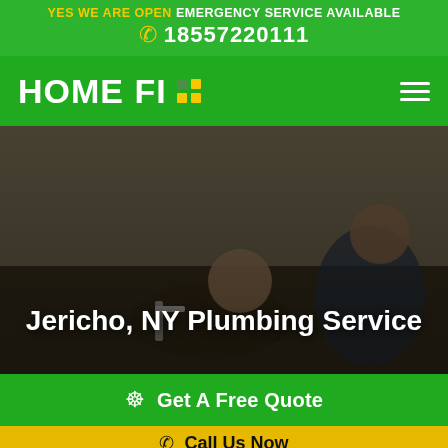YES WE ARE OPEN EMERGENCY SERVICE AVAILABLE
☎ 18557220111
[Figure (logo): HOME FI logo with green background and yellow block icon, hamburger menu on right]
[Figure (photo): Two people working on plumbing under a sink — one man lying on the floor fixing pipes, one woman leaning over watching, dark overlay]
Jericho, NY Plumbing Service
Get A Free Quote
Call Us Now